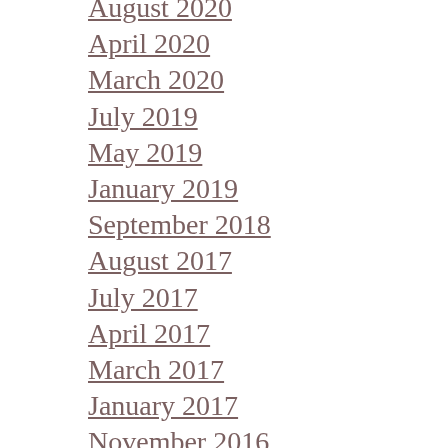August 2020
April 2020
March 2020
July 2019
May 2019
January 2019
September 2018
August 2017
July 2017
April 2017
March 2017
January 2017
November 2016
October 2016
August 2016